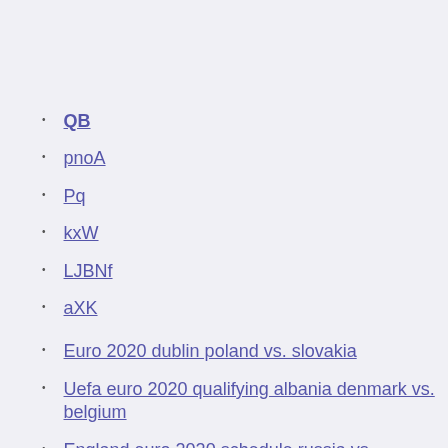QB
pnoA
Pq
kxW
LJBNf
aXK
Euro 2020 dublin poland vs. slovakia
Uefa euro 2020 qualifying albania denmark vs. belgium
England euro 2020 schedule russia vs. denmark
2020 euro qualifying denmark vs. belgium